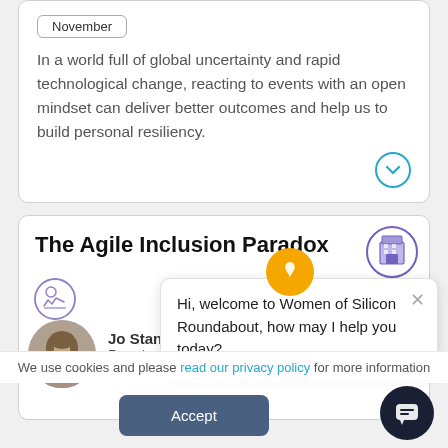November
In a world full of global uncertainty and rapid technological change, reacting to events with an open mindset can deliver better outcomes and help us to build personal resiliency.
The Agile Inclusion Paradox
[Figure (illustration): Building/office icon in purple circle]
[Figure (illustration): Person with chart icon in purple circle]
[Figure (photo): Author photo of Jo Stansfield]
Jo Stansfield
Founder &
[Figure (illustration): Yellow circle with flame/droplet icon - chat bot avatar]
Hi, welcome to Women of Silicon Roundabout, how may I help you today?
We use cookies and please read our privacy policy for more information
Accept